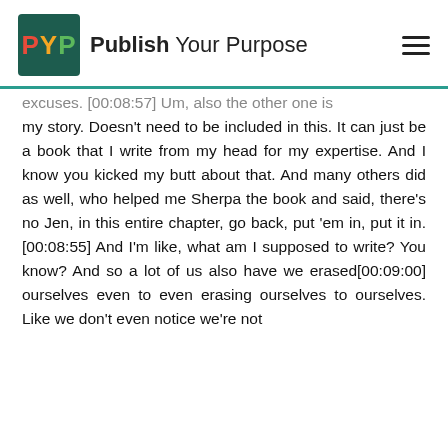PYP Publish Your Purpose
excuses. [00:08:57] Um, also the other one is my story. Doesn't need to be included in this. It can just be a book that I write from my head for my expertise. And I know you kicked my butt about that. And many others did as well, who helped me Sherpa the book and said, there's no Jen, in this entire chapter, go back, put 'em in, put it in.[00:08:55] And I'm like, what am I supposed to write? You know? And so a lot of us also have we erased[00:09:00] ourselves even to even erasing ourselves to ourselves. Like we don't even notice we're not